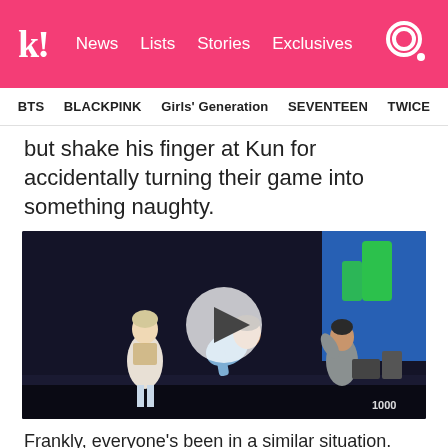k! News Lists Stories Exclusives
BTS  BLACKPINK  Girls' Generation  SEVENTEEN  TWICE
but shake his finger at Kun for accidentally turning their game into something naughty.
[Figure (photo): Video thumbnail showing K-pop performers on a dark stage with a play button overlay and '1000' watermark in the bottom right corner]
Frankly, everyone's been in a similar situation.